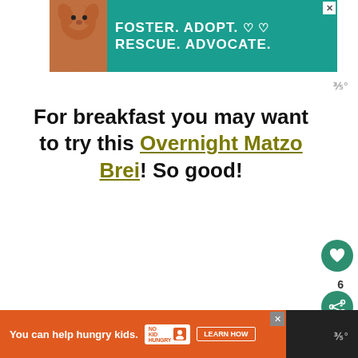[Figure (infographic): Advertisement banner: dog image on left, teal background with text FOSTER. ADOPT. RESCUE. ADVOCATE. with heart icons, close button top right]
For breakfast you may want to try this Overnight Matzo Brei! So good!
[Figure (photo): Food photo showing a plate with Overnight Matzo Brei (French toast style dish with powdered sugar) and a cup of coffee, with flowers and greenery in background. WHAT'S NEXT overlay: New Orleans Red Beans...]
[Figure (infographic): Bottom advertisement: orange background, You can help hungry kids. No Kid Hungry logo, LEARN HOW button, close X button]